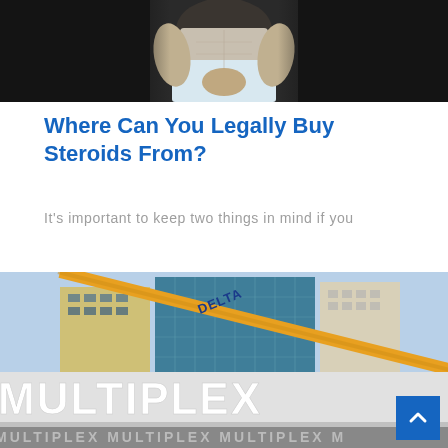[Figure (photo): Cropped photo of a muscular man with clenched fists, wearing light gray shorts, dark background]
Where Can You Legally Buy Steroids From?
It's important to keep two things in mind if you
[Figure (photo): Photo of a construction site with a large crane labeled DELTA and a fence/hoarding displaying MULTIPLEX logo repeated multiple times, city skyscrapers in background]